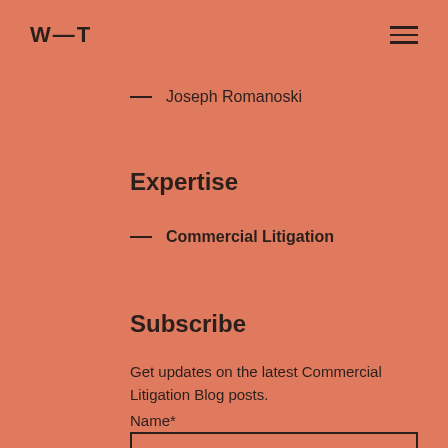W—T
— Joseph Romanoski
Expertise
— Commercial Litigation
Subscribe
Get updates on the latest Commercial Litigation Blog posts.
Name*